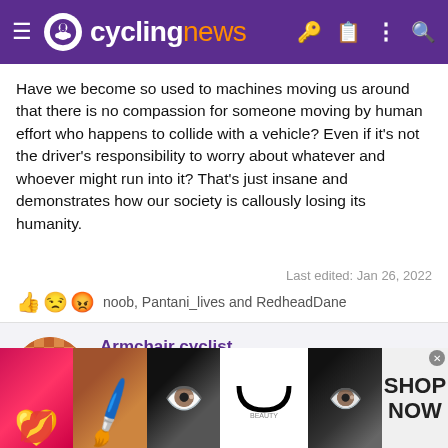cyclingnews
Have we become so used to machines moving us around that there is no compassion for someone moving by human effort who happens to collide with a vehicle? Even if it's not the driver's responsibility to worry about whatever and whoever might run into it? That's just insane and demonstrates how our society is callously losing its humanity.
Last edited: Jan 26, 2022
noob, Pantani_lives and RedheadDane
Armchair cyclist
Mar 22, 2010   9,070   2,542   23,180
[Figure (other): Advertisement banner with makeup/beauty images, Ulta Beauty logo, and Shop Now button]